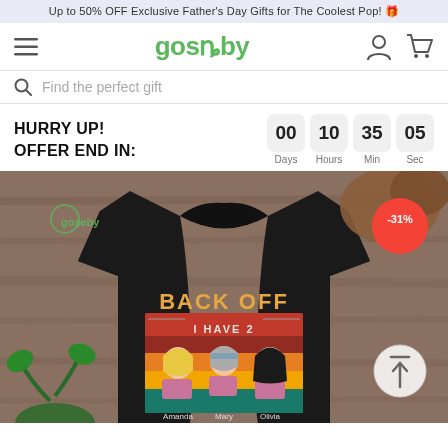Up to 50% OFF Exclusive Father's Day Gifts for The Coolest Pop! 🎁
[Figure (logo): Goseby logo with hamburger menu, user icon, and cart icon in navigation bar]
Find the perfect gift
HURRY UP!
OFFER END IN:
00 Days  10 Hours  35 Min  05 Sec
[Figure (photo): Product photo of a black t-shirt with 'BACK OFF I HAVE 2' graphic print featuring three women with sunglasses in retro style, placed on a wooden surface with a plant and shoes. Discount badge showing -31%.]